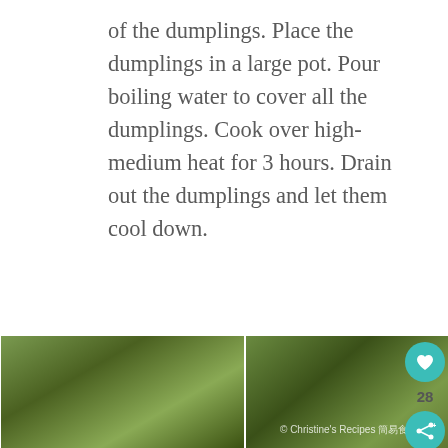of the dumplings. Place the dumplings in a large pot. Pour boiling water to cover all the dumplings. Cook over high-medium heat for 3 hours. Drain out the dumplings and let them cool down.
[Figure (photo): A 4x2 photo grid showing step-by-step process of wrapping dumplings in bamboo leaves, with hands shown folding and tying the dumplings. Watermark reads: © Christine's Recipes 簡易食譜]
[Figure (photo): Thumbnail of a stir-fried dish with vegetables]
WHAT'S NEXT → Stir-fried Gai Lan with Fis...